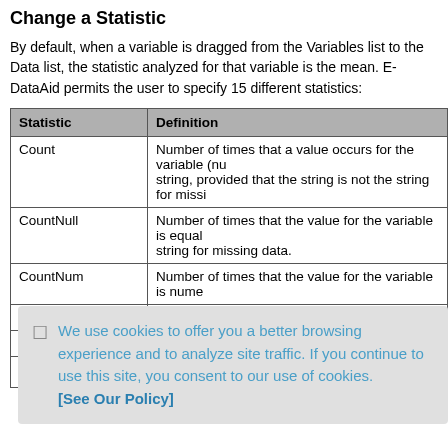Change a Statistic
By default, when a variable is dragged from the Variables list to the Data list, the statistic analyzed for that variable is the mean. E-DataAid permits the user to specify 15 different statistics:
| Statistic | Definition |
| --- | --- |
| Count | Number of times that a value occurs for the variable (nu... string, provided that the string is not the string for missi... |
| CountNull | Number of times that the value for the variable is equal... string for missing data. |
| CountNum | Number of times that the value for the variable is nume... |
| Max | Maximum value for the variable. |
| Mean | Mean value for the variable. |
| Median | Median value for the variable... |
We use cookies to offer you a better browsing experience and to analyze site traffic. If you continue to use this site, you consent to our use of cookies. [See Our Policy]